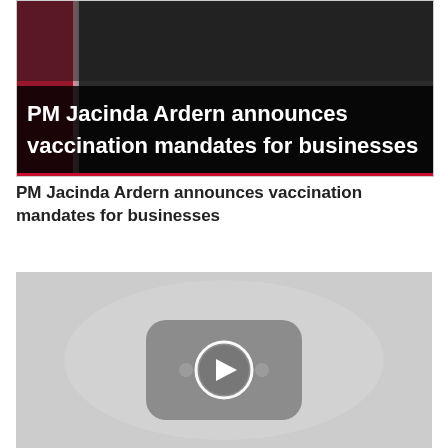[Figure (screenshot): Video thumbnail showing PM Jacinda Ardern speaking at a press conference with a New Zealand flag in the background. Bold white text on black bar reads: PM Jacinda Ardern announces vaccination mandates for businesses]
PM Jacinda Ardern announces vaccination mandates for businesses
[Figure (screenshot): Gray video player placeholder with a YouTube-style play button icon in the center]